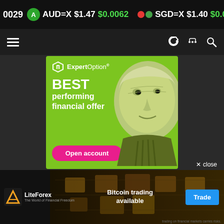0029  AUD=X $1.47 $0.0062  SGD=X $1.40 $0.0038
[Figure (screenshot): Navigation bar with hamburger menu icon on left and dark/share/search icons on right]
[Figure (infographic): ExpertOption advertisement banner with green background showing logo, 'BEST performing financial offer' text, pink 'Open account' button, and George Washington dollar bill face on right]
✕ close
[Figure (infographic): LiteForex bottom advertisement banner with logo on left, 'Bitcoin trading available' text in center, and blue 'Trade' button on right. Disclaimer text at bottom: 'trading on financial markets carries risks.']